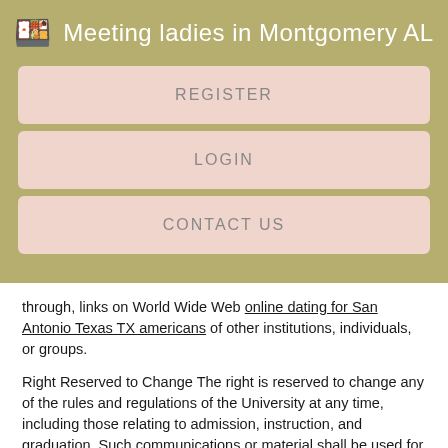Meeting ladies in Montgomery AL
REGISTER
LOGIN
CONTACT US
through, links on World Wide Web online dating for San Antonio Texas TX americans of other institutions, individuals, or groups.
Right Reserved to Change The right is reserved to change any of the rules and regulations of the University at any time, including those relating to admission, instruction, and graduation. Such communications or material shall be used for any purpose including, but not limited to, reproduction, disclosure, transmission, publication, broadcast, and posting.